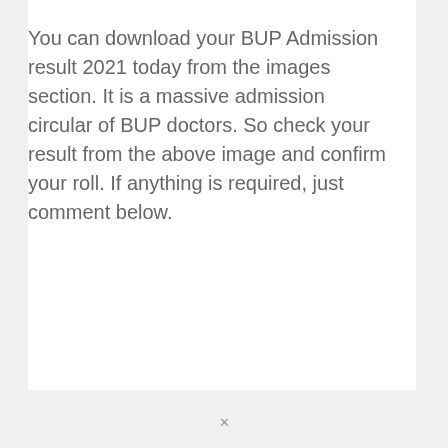You can download your BUP Admission result 2021 today from the images section. It is a massive admission circular of BUP doctors. So check your result from the above image and confirm your roll. If anything is required, just comment below.